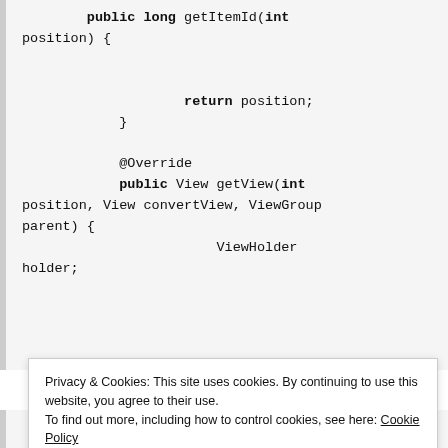public long getItemId(int position) {


                    return position;
            }

            @Override
            public View getView(int position, View convertView, ViewGroup parent) {

                        ViewHolder holder;
Privacy & Cookies: This site uses cookies. By continuing to use this website, you agree to their use.
To find out more, including how to control cookies, see here: Cookie Policy
Close and accept